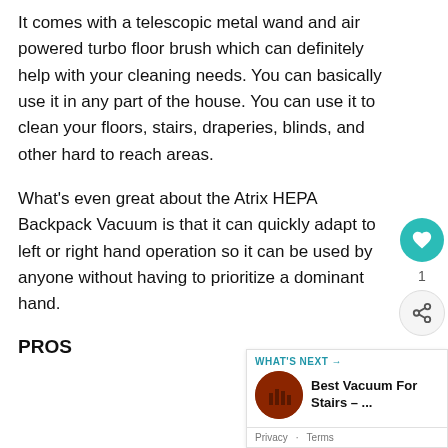It comes with a telescopic metal wand and air powered turbo floor brush which can definitely help with your cleaning needs. You can basically use it in any part of the house. You can use it to clean your floors, stairs, draperies, blinds, and other hard to reach areas.
What's even great about the Atrix HEPA Backpack Vacuum is that it can quickly adapt to left or right hand operation so it can be used by anyone without having to prioritize a dominant hand.
PROS